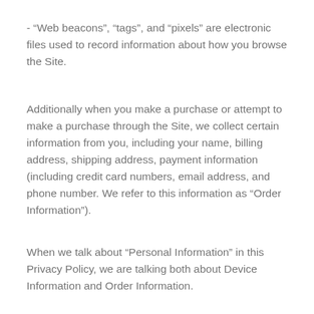- “Web beacons”, “tags”, and “pixels” are electronic files used to record information about how you browse the Site.
Additionally when you make a purchase or attempt to make a purchase through the Site, we collect certain information from you, including your name, billing address, shipping address, payment information (including credit card numbers, email address, and phone number. We refer to this information as “Order Information”).
When we talk about “Personal Information” in this Privacy Policy, we are talking both about Device Information and Order Information.